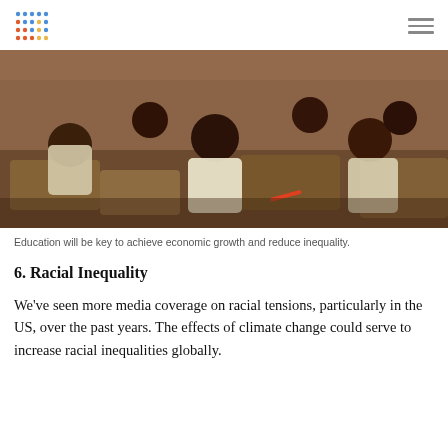[Logo: colorful dot grid] [Hamburger menu icon]
[Figure (photo): Students sitting at wooden desks in a classroom in Africa, focused and attentive. A girl in the center wears glasses and a white top. Others around her also appear engaged in class.]
Education will be key to achieve economic growth and reduce inequality.
6. Racial Inequality
We've seen more media coverage on racial tensions, particularly in the US, over the past years. The effects of climate change could serve to increase racial inequalities globally.